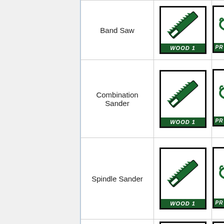| Tool Name | Badge 1 | Badge 2 (partial) |
| --- | --- | --- |
| Band Saw | WOOD 1 badge icon | PR... badge icon (partial) |
| Combination Sander | WOOD 1 badge icon | PR... badge icon (partial) |
| Spindle Sander | WOOD 1 badge icon | PR... badge icon (partial) |
| Blade R... | badge icon | badge icon (partial) |